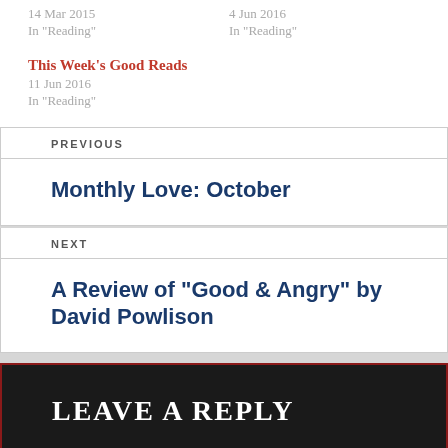14 Mar 2015
In "Reading"
4 Jun 2016
In "Reading"
This Week's Good Reads
11 Jun 2016
In "Reading"
PREVIOUS
Monthly Love: October
NEXT
A Review of “Good & Angry” by David Powlison
Leave a Reply